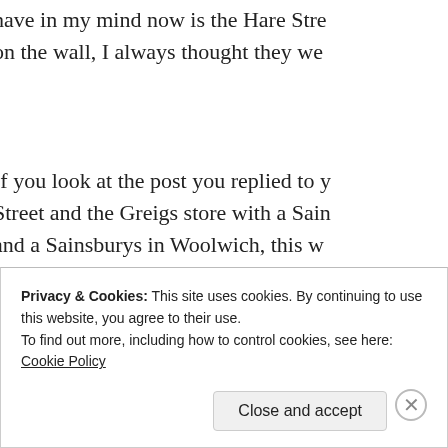have in my mind now is the Hare Stre on the wall, I always thought they we
If you look at the post you replied to Street and the Greigs store with a Sai and a Sainsburys in Woolwich, this w wonder if they changed stores with Sa Powis Street to the much older Hare S food shops in Powis Street but lots in argue with anyone who said they wer though.
★ Like
Privacy & Cookies: This site uses cookies. By continuing to use this website, you agree to their use.
To find out more, including how to control cookies, see here: Cookie Policy
Close and accept